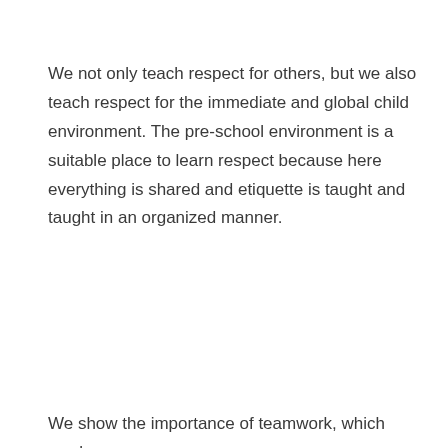We not only teach respect for others, but we also teach respect for the immediate and global child environment. The pre-school environment is a suitable place to learn respect because here everything is shared and etiquette is taught and taught in an organized manner.
We show the importance of teamwork, which awakens